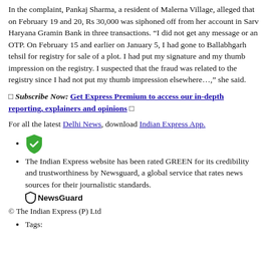In the complaint, Pankaj Sharma, a resident of Malerna Village, alleged that on February 19 and 20, Rs 30,000 was siphoned off from her account in Sarv Haryana Gramin Bank in three transactions. “I did not get any message or an OTP. On February 15 and earlier on January 5, I had gone to Ballabhgarh tehsil for registry for sale of a plot. I had put my signature and my thumb impression on the registry. I suspected that the fraud was related to the registry since I had not put my thumb impression elsewhere…,” she said.
□ Subscribe Now: Get Express Premium to access our in-depth reporting, explainers and opinions □
For all the latest Delhi News, download Indian Express App.
[shield icon]
The Indian Express website has been rated GREEN for its credibility and trustworthiness by Newsguard, a global service that rates news sources for their journalistic standards.
□NewsGuard
© The Indian Express (P) Ltd
Tags: